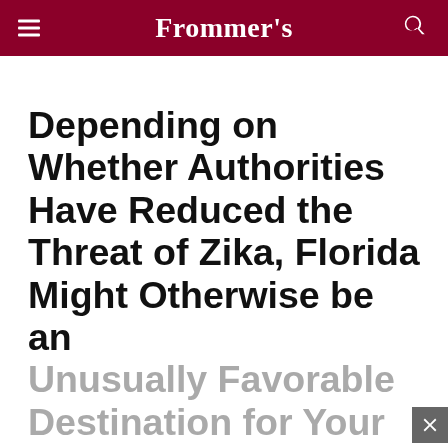Frommer's
Depending on Whether Authorities Have Reduced the Threat of Zika, Florida Might Otherwise be an Unusually Favorable Destination for Your